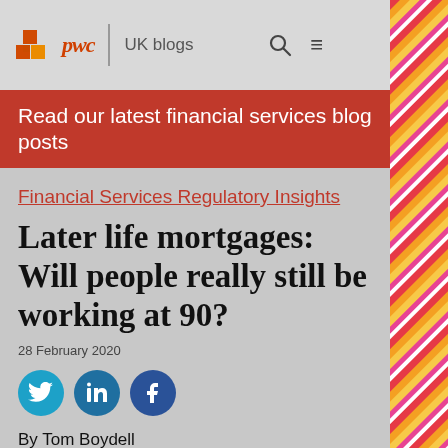pwc | UK blogs
Read our latest financial services blog posts
Financial Services Regulatory Insights
Later life mortgages: Will people really still be working at 90?
28 February 2020
By Tom Boydell